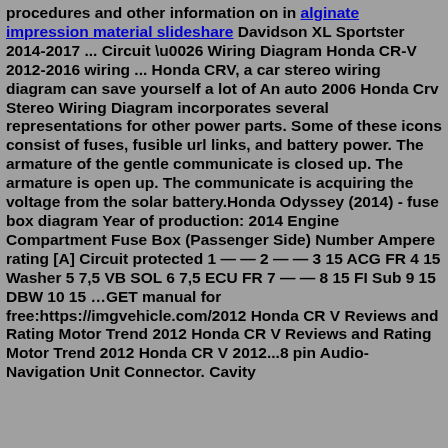procedures and other information on in alginate impression material slideshare Davidson XL Sportster 2014-2017 ... Circuit \u0026 Wiring Diagram Honda CR-V 2012-2016 wiring ... Honda CRV, a car stereo wiring diagram can save yourself a lot of An auto 2006 Honda Crv Stereo Wiring Diagram incorporates several representations for other power parts. Some of these icons consist of fuses, fusible url links, and battery power. The armature of the gentle communicate is closed up. The armature is open up. The communicate is acquiring the voltage from the solar battery.Honda Odyssey (2014) - fuse box diagram Year of production: 2014 Engine Compartment Fuse Box (Passenger Side) Number Ampere rating [A] Circuit protected 1 — — 2 — — 3 15 ACG FR 4 15 Washer 5 7,5 VB SOL 6 7,5 ECU FR 7 — — 8 15 FI Sub 9 15 DBW 10 15 …GET manual for free:https://imgvehicle.com/2012 Honda CR V Reviews and Rating Motor Trend 2012 Honda CR V Reviews and Rating Motor Trend 2012 Honda CR V 2012...8 pin Audio-Navigation Unit Connector. Cavity